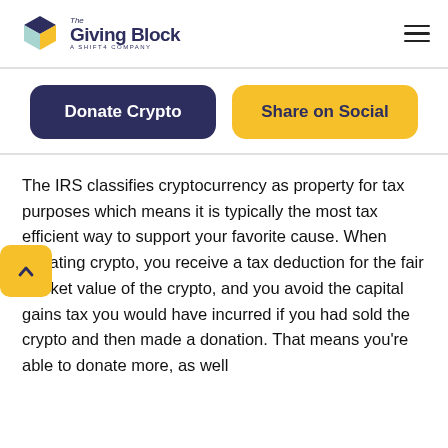The Giving Block — A Shift4 Company
[Figure (illustration): Two buttons: 'Donate Crypto' (dark purple, rounded) and 'Share on Social' (yellow, rounded)]
The IRS classifies cryptocurrency as property for tax purposes which means it is typically the most tax efficient way to support your favorite cause. When donating crypto, you receive a tax deduction for the fair market value of the crypto, and you avoid the capital gains tax you would have incurred if you had sold the crypto and then made a donation. That means you're able to donate more, as well